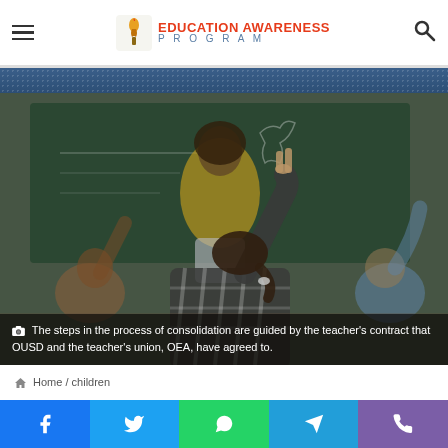EDUCATION AWARENESS PROGRAM
[Figure (photo): Classroom photo showing a teacher in a yellow top at a chalkboard, with students raising their hands, viewed from behind. A girl with a ponytail in a plaid shirt raises her hand prominently in the foreground.]
The steps in the process of consolidation are guided by the teacher's contract that OUSD and the teacher's union, OEA, have agreed to.
Home / children